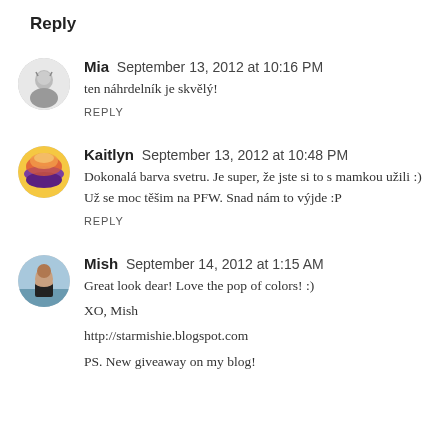Reply
Mia  September 13, 2012 at 10:16 PM
ten náhrdelník je skvělý!
REPLY
Kaitlyn  September 13, 2012 at 10:48 PM
Dokonalá barva svetru. Je super, že jste si to s mamkou užili :) Už se moc těšim na PFW. Snad nám to výjde :P
REPLY
Mish  September 14, 2012 at 1:15 AM
Great look dear! Love the pop of colors! :)
XO, Mish
http://starmishie.blogspot.com
PS. New giveaway on my blog!